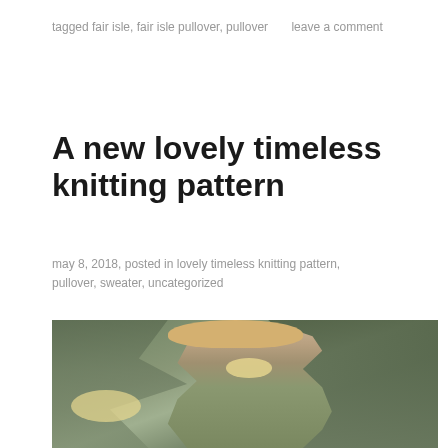tagged fair isle, fair isle pullover, pullover       leave a comment
A new lovely timeless knitting pattern
may 8, 2018, posted in lovely timeless knitting pattern, pullover, sweater, uncategorized
[Figure (photo): Woman with blonde wavy hair wearing a green knitted sweater, holding a yellow flower, standing outdoors in a garden with trees and foliage in the background]